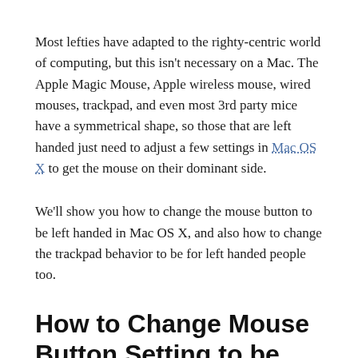Most lefties have adapted to the righty-centric world of computing, but this isn't necessary on a Mac. The Apple Magic Mouse, Apple wireless mouse, wired mouses, trackpad, and even most 3rd party mice have a symmetrical shape, so those that are left handed just need to adjust a few settings in Mac OS X to get the mouse on their dominant side.
We'll show you how to change the mouse button to be left handed in Mac OS X, and also how to change the trackpad behavior to be for left handed people too.
How to Change Mouse Button Setting to be Left Handed on Mac
The main thing you want to do is change the "Primary